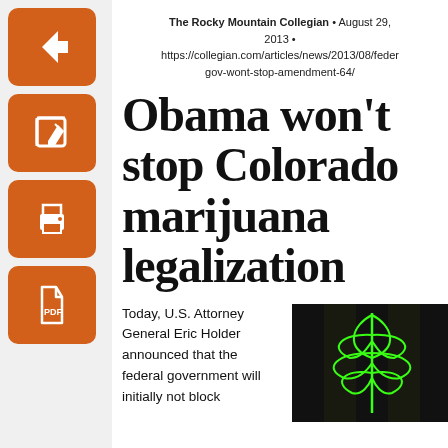[Figure (screenshot): Orange back arrow button]
[Figure (screenshot): Orange edit/pencil button]
[Figure (screenshot): Orange print button]
[Figure (screenshot): Orange PDF/document button]
The Rocky Mountain Collegian • August 29, 2013 • https://collegian.com/articles/news/2013/08/federal-gov-wont-stop-amendment-64/
Obama won't stop Colorado marijuana legalization
Today, U.S. Attorney General Eric Holder announced that the federal government will initially not block
[Figure (photo): Green neon marijuana leaf sign glowing on dark background]